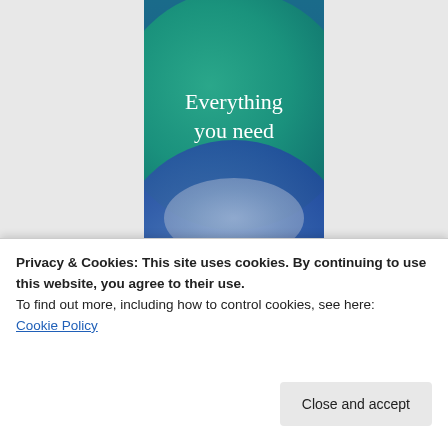[Figure (illustration): Website promotional banner with deep blue/teal background, a large green circle in the upper portion and a blue circle in the lower portion overlapping to create a lens/vesica shape in the center. White serif text reads 'Everything you need' in the upper half and 'Anything you want' in the lower half. A colored strip at the bottom reads 'Build Your Website'.]
Privacy & Cookies: This site uses cookies. By continuing to use this website, you agree to their use.
To find out more, including how to control cookies, see here: Cookie Policy
Close and accept